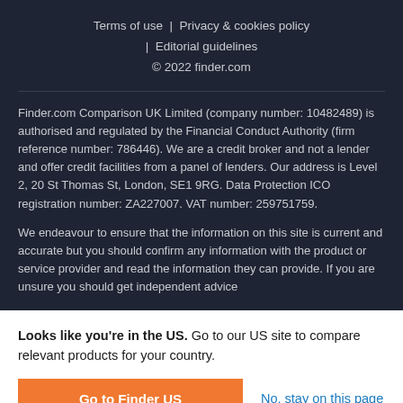Terms of use  |  Privacy & cookies policy  |  Editorial guidelines  © 2022 finder.com
Finder.com Comparison UK Limited (company number: 10482489) is authorised and regulated by the Financial Conduct Authority (firm reference number: 786446). We are a credit broker and not a lender and offer credit facilities from a panel of lenders. Our address is Level 2, 20 St Thomas St, London, SE1 9RG. Data Protection ICO registration number: ZA227007. VAT number: 259751759.
We endeavour to ensure that the information on this site is current and accurate but you should confirm any information with the product or service provider and read the information they can provide. If you are unsure you should get independent advice
Looks like you're in the US. Go to our US site to compare relevant products for your country.
Go to Finder US
No, stay on this page